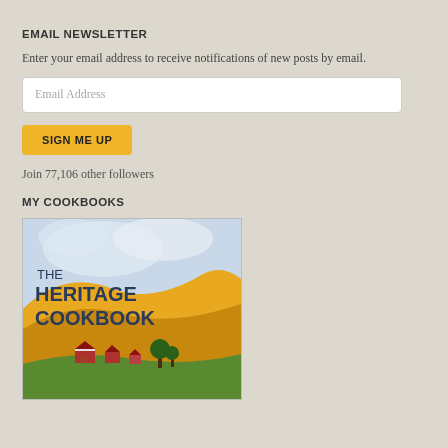EMAIL NEWSLETTER
Enter your email address to receive notifications of new posts by email.
[Figure (other): Email address input field with placeholder text 'Email Address']
SIGN ME UP
Join 77,106 other followers
MY COOKBOOKS
[Figure (illustration): Book cover of 'The Heritage Cookbook' showing a rural farm scene with golden hills, farmhouses, and trees under a cloudy sky. Title text reads THE HERITAGE COOKBOOK in bold dark blue letters.]